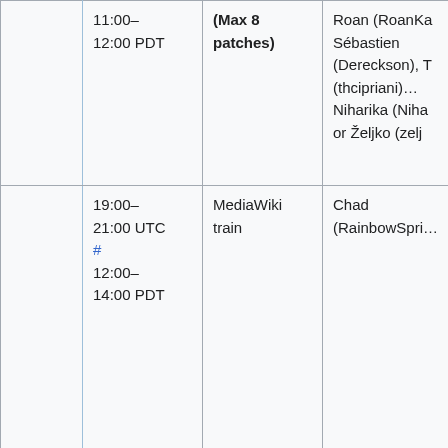|  | 11:00–
12:00 PDT | (Max 8 patches) | Roan (RoanKa…
Sébastien (Dereckson), T…
(thcipriani)…
Niharika (Niha…
or Željko (zelj… |
|  | 19:00–
21:00 UTC
#
12:00–
14:00 PDT | MediaWiki train | Chad (RainbowSpri… |